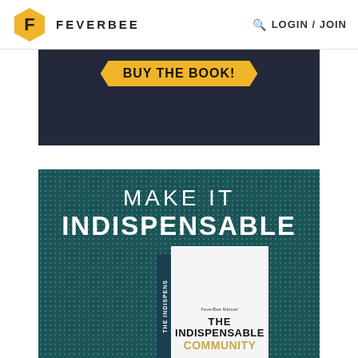FEVERBEE LOGIN/JOIN
[Figure (screenshot): Dark navy banner with yellow hexagonal 'BUY THE BOOK!' button in center]
[Figure (screenshot): Teal textured book advertisement banner reading 'MAKE IT INDISPENSABLE' with a book cover showing 'THE INDISPENSABLE COMMUNITY' at bottom]